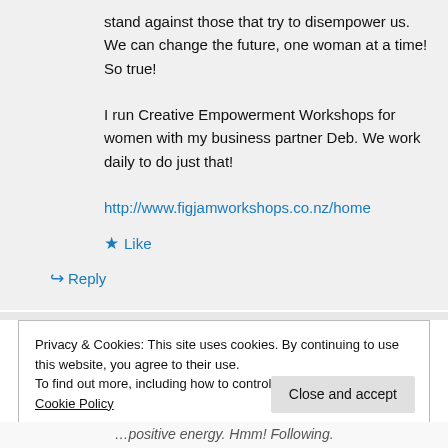stand against those that try to disempower us. We can change the future, one woman at a time! So true!
I run Creative Empowerment Workshops for women with my business partner Deb. We work daily to do just that!
http://www.figjamworkshops.co.nz/home
★ Like
↪ Reply
Privacy & Cookies: This site uses cookies. By continuing to use this website, you agree to their use.
To find out more, including how to control cookies, see here: Cookie Policy
Close and accept
…positive energy. Hmm! Following.